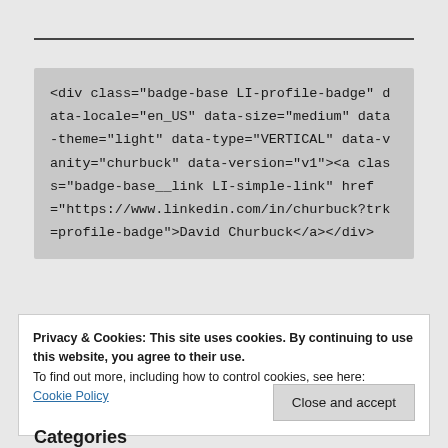[Figure (screenshot): A code block on a gray background showing HTML markup for a LinkedIn profile badge div element with attributes for locale, size, theme, type, vanity, and version, including an anchor tag with href to linkedin.com/in/churbuck]
Privacy & Cookies: This site uses cookies. By continuing to use this website, you agree to their use.
To find out more, including how to control cookies, see here:
Cookie Policy
Close and accept
Categories